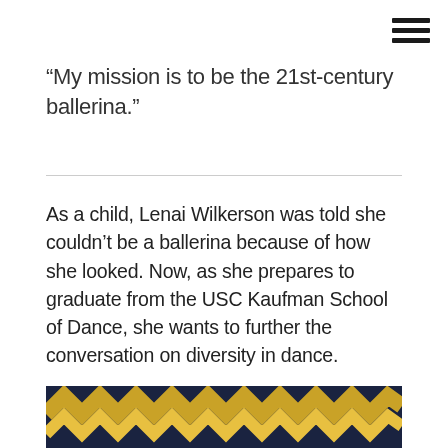[Figure (other): Hamburger menu icon (three horizontal lines) in the top right corner]
“My mission is to be the 21st-century ballerina.”
As a child, Lenai Wilkerson was told she couldn’t be a ballerina because of how she looked. Now, as she prepares to graduate from the USC Kaufman School of Dance, she wants to further the conversation on diversity in dance.
[Figure (photo): Partial photo at bottom of page showing what appears to be a costume with dark navy/blue and gold/yellow zigzag or chevron pattern detail]